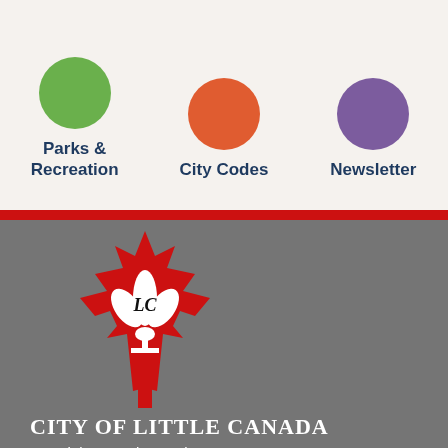[Figure (illustration): Green circle icon for Parks & Recreation]
Parks & Recreation
[Figure (illustration): Orange circle icon for City Codes]
City Codes
[Figure (illustration): Purple circle icon for Newsletter]
Newsletter
[Figure (logo): City of Little Canada logo: red maple leaf with white fleur-de-lis and LC text]
CITY OF LITTLE CANADA
515 Little Canada Road East
Little Canada, MN  55117
Phone: 651-766-4029